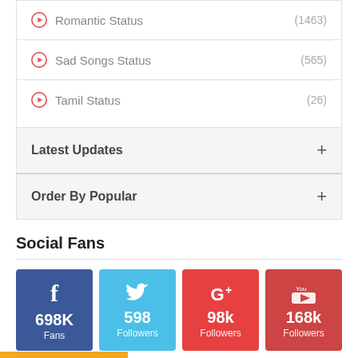Romantic Status (1463)
Sad Songs Status (565)
Tamil Status (26)
Latest Updates +
Order By Popular +
Social Fans
[Figure (infographic): Four social media fan count cards: Facebook 698K Fans, Twitter 598 Followers, Google+ 98k Followers, YouTube 168k Followers]